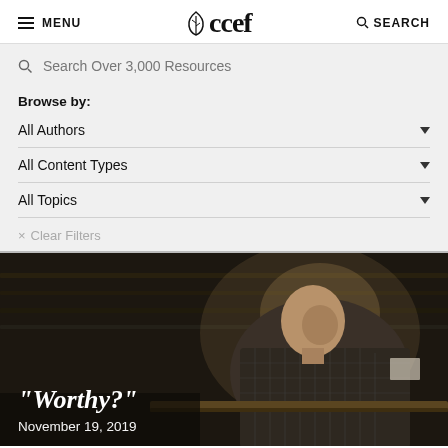MENU | ccef | SEARCH
Search Over 3,000 Resources
Browse by:
All Authors
All Content Types
All Topics
× Clear Filters
[Figure (photo): Elderly man in plaid shirt seated in a dark church pew, viewed from behind/side, dim atmospheric lighting]
“Worthy?”
November 19, 2019